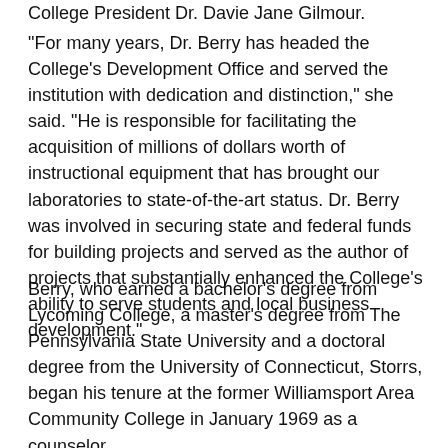College President Dr. Davie Jane Gilmour.
“For many years, Dr. Berry has headed the College’s Development Office and served the institution with dedication and distinction,” she said. “He is responsible for facilitating the acquisition of millions of dollars worth of instructional equipment that has brought our laboratories to state-of-the-art status. Dr. Berry was involved in securing state and federal funds for building projects and served as the author of projects that substantially enhanced the College’s ability to serve students and local business development.”
Berry, who earned a bachelor’s degree from Lycoming College, a master’s degree from The Pennsylvania State University and a doctoral degree from the University of Connecticut, Storrs, began his tenure at the former Williamsport Area Community College in January 1969 as a counselor.